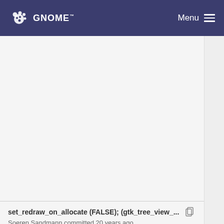GNOME  Menu
set_redraw_on_allocate (FALSE); (gtk_tree_view_...  Soeren Sandmann committed 20 years ago